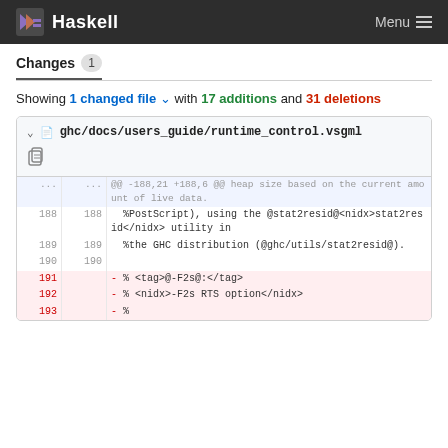Haskell  Menu
Changes 1
Showing 1 changed file with 17 additions and 31 deletions
| old | new | code |
| --- | --- | --- |
| ... | ... | @@ -188,21 +188,6 @@ heap size based on the current amount of live data. |
| 188 | 188 | %PostScript), using the @stat2resid@<nidx>stat2resid</nidx> utility in |
| 189 | 189 | %the GHC distribution (@ghc/utils/stat2resid@). |
| 190 | 190 |  |
| 191 |  | - % <tag>@-F2s@:</tag> |
| 192 |  | - % <nidx>-F2s RTS option</nidx> |
| 193 |  | - % |